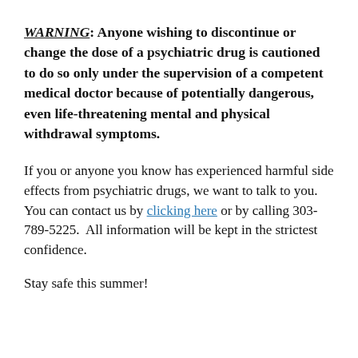WARNING: Anyone wishing to discontinue or change the dose of a psychiatric drug is cautioned to do so only under the supervision of a competent medical doctor because of potentially dangerous, even life-threatening mental and physical withdrawal symptoms.
If you or anyone you know has experienced harmful side effects from psychiatric drugs, we want to talk to you. You can contact us by clicking here or by calling 303-789-5225. All information will be kept in the strictest confidence.
Stay safe this summer!